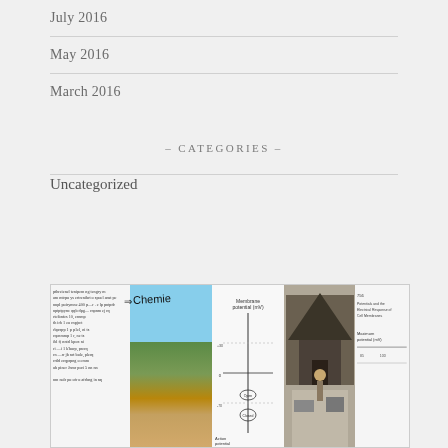July 2016
May 2016
March 2016
– CATEGORIES –
Uncategorized
[Figure (photo): Collage of document pages, a landscape photo (mountain meadow with evergreen trees and cloudy sky), a scientific diagram with vertical axis labels, a black-and-white photograph of a person in a military tent, and small text columns.]